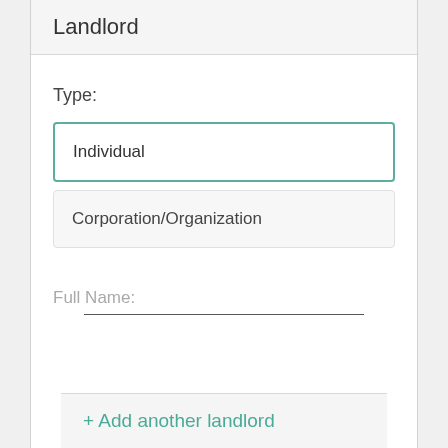Landlord
Type:
Individual
Corporation/Organization
Full Name:
+ Add another landlord